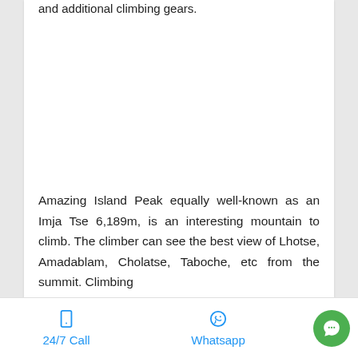and additional climbing gears.
Amazing Island Peak equally well-known as an Imja Tse 6,189m, is an interesting mountain to climb. The climber can see the best view of Lhotse, Amadablam, Cholatse, Taboche, etc from the summit. Climbing
24/7 Call   Whatsapp